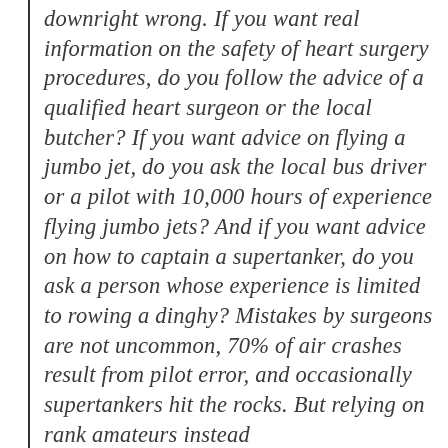downright wrong. If you want real information on the safety of heart surgery procedures, do you follow the advice of a qualified heart surgeon or the local butcher? If you want advice on flying a jumbo jet, do you ask the local bus driver or a pilot with 10,000 hours of experience flying jumbo jets? And if you want advice on how to captain a supertanker, do you ask a person whose experience is limited to rowing a dinghy? Mistakes by surgeons are not uncommon, 70% of air crashes result from pilot error, and occasionally supertankers hit the rocks. But relying on rank amateurs instead